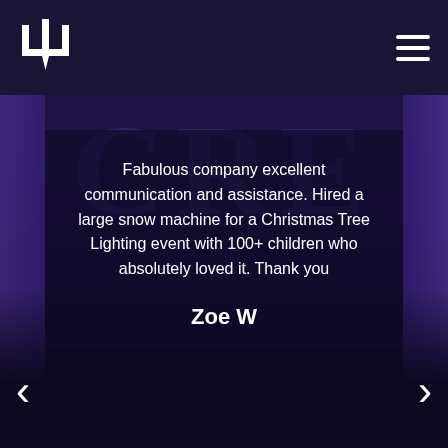Navigation bar with logo and hamburger menu
Fabulous company excellent communication and assistance. Hired a large snow machine for a Christmas Tree Lighting event with 100+ children who absolutely loved it. Thank you
Zoe W